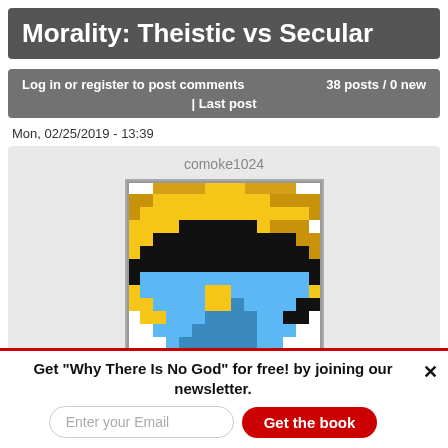Morality: Theistic vs Secular
Log in or register to post comments   38 posts / 0 new
| Last post
Mon, 02/25/2019 - 13:39
comoke1024
[Figure (illustration): Pixel art avatar of a character with yellow/gold hat and blue clothing against white background, bordered by a thin gray frame.]
Get "Why There Is No God" for free! by joining our newsletter.
Enter your Email
Get the book